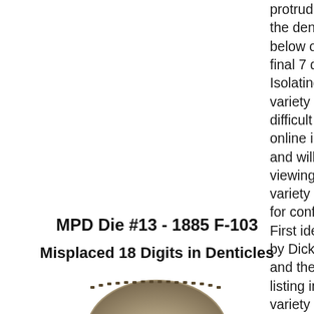protruding from the denticles below one of the final 7 digits. Isolating this variety could be difficult from online images and will take viewing of the variety first hand for confirmation. First identified by Dick Osburn and the initial listing in any variety set.
MPD Die #13 - 1885 F-103
Misplaced 18 Digits in Denticles
[Figure (photo): Top portion of a coin showing denticles along the rim]